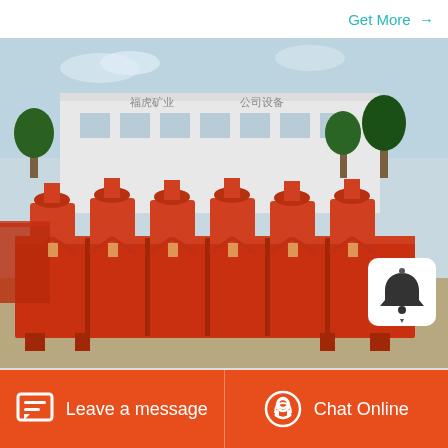Get More →
[Figure (photo): Industrial flotation machine with orange/red painted rectangular tank body and multiple impeller mechanisms on top, displayed outdoors in front of a factory building with Chinese characters on signage. Multiple units lined up showing the flotation cell equipment.]
Leave a message
Chat Online